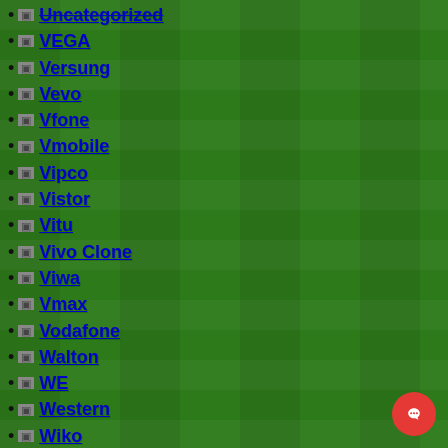Uncategorized
VEGA
Versung
Vevo
Vfone
Vmobile
Vipco
Vistor
Vitu
Vivo Clone
Viwa
Vmax
Vodafone
Walton
WE
Western
Wiko
Winds
Winmax
Winstar
WM21
X-BO
X-BO
X-ONE